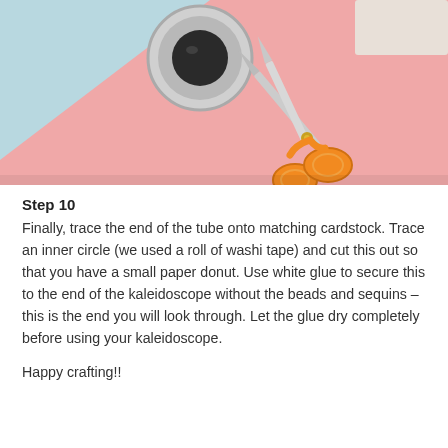[Figure (photo): Top-down photo of craft supplies on a pink surface with a light blue corner in the top-left. Items visible include a roll of washi tape (black tape core visible), orange-handled scissors, and a white eraser or paper piece in the top-right corner.]
Step 10
Finally, trace the end of the tube onto matching cardstock. Trace an inner circle (we used a roll of washi tape) and cut this out so that you have a small paper donut. Use white glue to secure this to the end of the kaleidoscope without the beads and sequins – this is the end you will look through. Let the glue dry completely before using your kaleidoscope.
Happy crafting!!